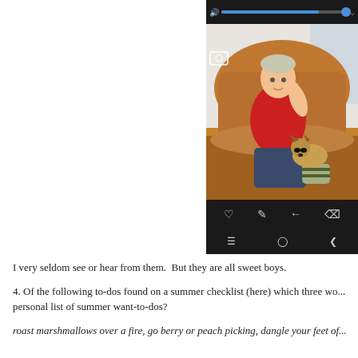[Figure (screenshot): A smartphone screenshot showing a boy in a red shirt sitting in a brown leather chair with a small Yorkshire Terrier dog on his lap. The phone UI shows a volume slider at the top and toolbar icons (heart, pencil, share, trash) at the bottom, plus navigation bar.]
I very seldom see or hear from them.  But they are all sweet boys.
4. Of the following to-dos found on a summer checklist (here) which three wo... personal list of summer want-to-dos?
roast marshmallows over a fire, go berry or peach picking, dangle your feet of...